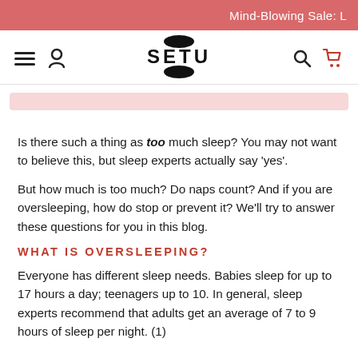Mind-Blowing Sale: L
[Figure (logo): SETU brand logo with hamburger menu, user icon, search icon, and red cart icon in navigation bar]
Is there such a thing as too much sleep? You may not want to believe this, but sleep experts actually say ‘yes’.
But how much is too much? Do naps count? And if you are oversleeping, how do stop or prevent it? We’ll try to answer these questions for you in this blog.
WHAT IS OVERSLEEPING?
Everyone has different sleep needs. Babies sleep for up to 17 hours a day; teenagers up to 10. In general, sleep experts recommend that adults get an average of 7 to 9 hours of sleep per night. (1)